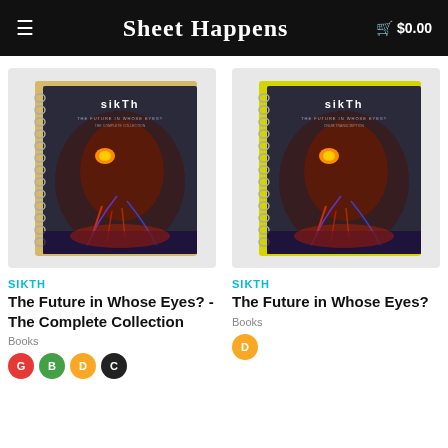Sheet Happens  $0.00
[Figure (photo): Spiral-bound music book with SikTh 'The Future in Whose Eyes?' album art cover — robotic skull creature, dark background, gold spiral binding. Left product image.]
SIKTH
The Future in Whose Eyes? - The Complete Collection
Books
G B D C
[Figure (photo): Spiral-bound music book with SikTh 'The Future in Whose Eyes?' album art cover — robotic skull creature, dark background, yellow spiral binding. Right product image.]
SIKTH
The Future in Whose Eyes?
Books
D